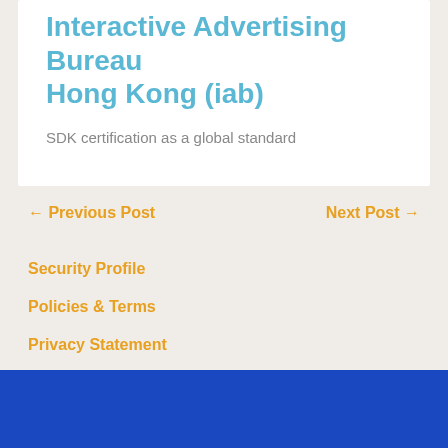Interactive Advertising Bureau Hong Kong (iab)
SDK certification as a global standard
← Previous Post
Next Post →
Security Profile
Policies & Terms
Privacy Statement